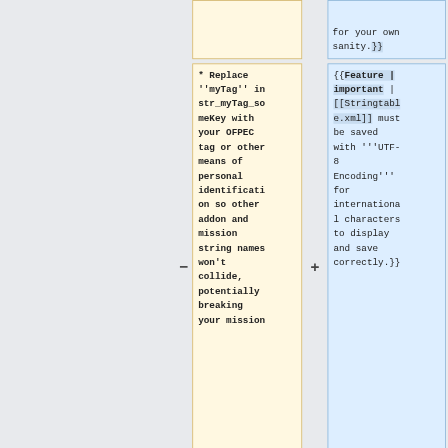for your own sanity.}}
* Replace ''myTag'' in str_myTag_someKey with your OFPEC tag or other means of personal identification so other addon and mission string names won't collide, potentially breaking your mission
{{Feature | important | [[Stringtable.xml]] must be saved with '''UTF-8 Encoding''' for international characters to display and save correctly.}}